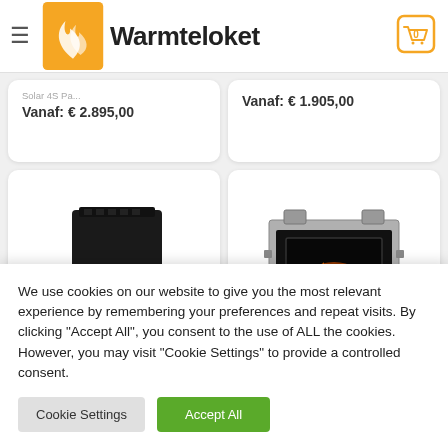Warmteloket
Vanaf: € 2.895,00
Vanaf: € 1.905,00
[Figure (photo): Black pellet stove with orange flame visible through glass door]
[Figure (photo): Built-in fireplace insert unit with yellow flame visible through glass front]
We use cookies on our website to give you the most relevant experience by remembering your preferences and repeat visits. By clicking "Accept All", you consent to the use of ALL the cookies. However, you may visit "Cookie Settings" to provide a controlled consent.
Cookie Settings
Accept All